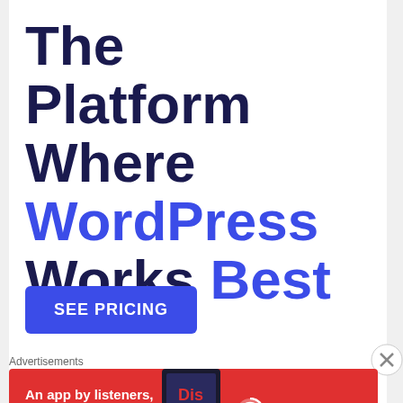The Platform Where WordPress Works Best
SEE PRICING
Advertisements
[Figure (infographic): Pocket Casts advertisement banner: red background with text 'An app by listeners, for listeners.' and Pocket Casts logo on the right, with a phone/book image in the middle.]